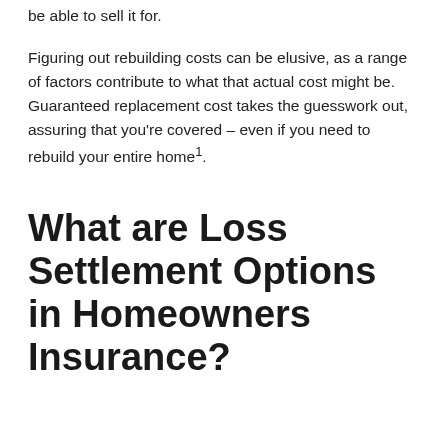be able to sell it for.
Figuring out rebuilding costs can be elusive, as a range of factors contribute to what that actual cost might be. Guaranteed replacement cost takes the guesswork out, assuring that you're covered – even if you need to rebuild your entire home¹.
What are Loss Settlement Options in Homeowners Insurance?